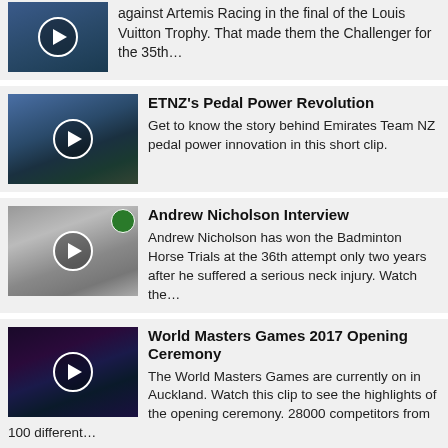against Artemis Racing in the final of the Louis Vuitton Trophy. That made them the Challenger for the 35th…
[Figure (photo): Sailing boat thumbnail with play button]
ETNZ's Pedal Power Revolution
Get to know the story behind Emirates Team NZ pedal power innovation in this short clip.
[Figure (photo): Andrew Nicholson interview thumbnail with play button]
Andrew Nicholson Interview
Andrew Nicholson has won the Badminton Horse Trials at the 36th attempt only two years after he suffered a serious neck injury. Watch the…
[Figure (photo): World Masters Games ceremony thumbnail with play button]
World Masters Games 2017 Opening Ceremony
The World Masters Games are currently on in Auckland. Watch this clip to see the highlights of the opening ceremony. 28000 competitors from 100 different…
[Figure (photo): Brad Anderson thumbnail with play button]
The Team Behind The Team: Brad Anderson
Watch this clip to hear more about Black Ferns Sevens strength and conditioning coach Brad